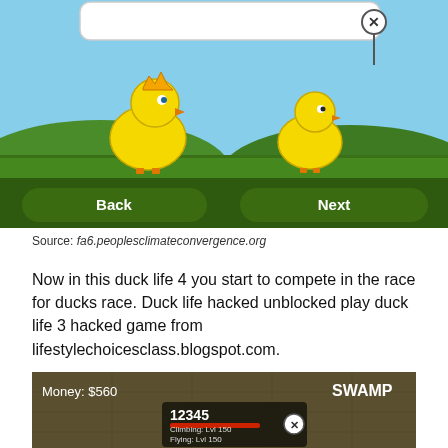[Figure (screenshot): Screenshot of a duck life game showing two yellow cartoon chicks on a green landscape with blue sky. A speech bubble appears at top with an X close button. Two dark green rounded buttons at bottom labeled 'Back' and 'Next'.]
Source: fa6.peoplesclimateconvergence.org
Now in this duck life 4 you start to compete in the race for ducks race. Duck life hacked unblocked play duck life 3 hacked game from lifestylechoicesclass.blogspot.com.
[Figure (screenshot): Screenshot of a duck life game swamp level showing 'Money: $560' in top left and 'SWAMP' in bold white top right. A dark box shows '12345' with 'Climbing: Lvl 150' and 'Flying: Lvl 150' with an X button.]